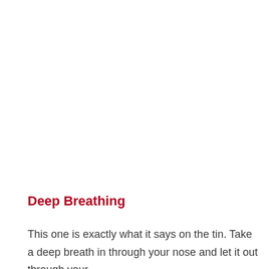Deep Breathing
This one is exactly what it says on the tin. Take a deep breath in through your nose and let it out through your